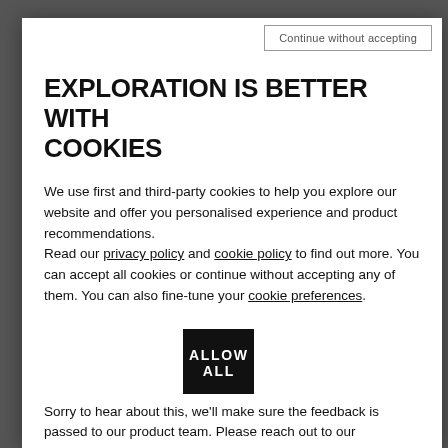Continue without accepting
EXPLORATION IS BETTER WITH COOKIES
We use first and third-party cookies to help you explore our website and offer you personalised experience and product recommendations.
Read our privacy policy and cookie policy to find out more. You can accept all cookies or continue without accepting any of them. You can also fine-tune your cookie preferences.
ALLOW ALL
Sorry to hear about this, we'll make sure the feedback is passed to our product team. Please reach out to our